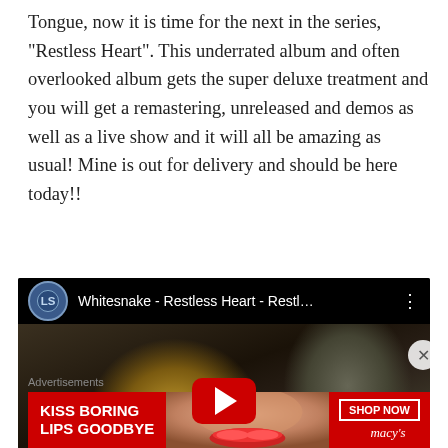Tongue, now it is time for the next in the series, “Restless Heart”. This underrated album and often overlooked album gets the super deluxe treatment and you will get a remastering, unreleased and demos as well as a live show and it will all be amazing as usual! Mine is out for delivery and should be here today!!
[Figure (screenshot): Embedded YouTube video thumbnail showing Whitesnake - Restless Heart - Restl... with a play button overlay. The thumbnail shows a person with long blonde hair, dark background, and ghostly figure on right.]
Advertisements
[Figure (photo): Advertisement banner: KISS BORING LIPS GOODBYE with a woman's face showing red lips, and a SHOP NOW button with Macy's star logo on a red background.]